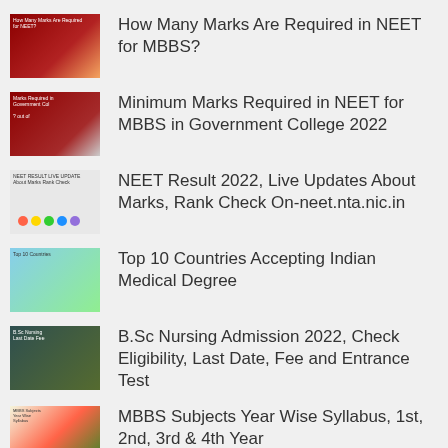How Many Marks Are Required in NEET for MBBS?
Minimum Marks Required in NEET for MBBS in Government College 2022
NEET Result 2022, Live Updates About Marks, Rank Check On-neet.nta.nic.in
Top 10 Countries Accepting Indian Medical Degree
B.Sc Nursing Admission 2022, Check Eligibility, Last Date, Fee and Entrance Test
MBBS Subjects Year Wise Syllabus, 1st, 2nd, 3rd & 4th Year
What is Deemed Universities MBBS Fees Structure 2022?